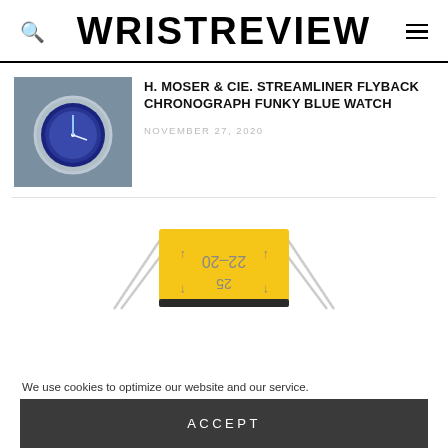WRISTREVIEW
[Figure (photo): Watch product photo showing a blue dial watch on a dark surface]
H. MOSER & CIE. STREAMLINER FLYBACK CHRONOGRAPH FUNKY BLUE WATCH
NOVEMBER 27, 2020
[Figure (photo): Yellow watch strap tool or lug sizing tool with markings 22-20 and 25, shown upside down]
We use cookies to optimize our website and our service.
ACCEPT